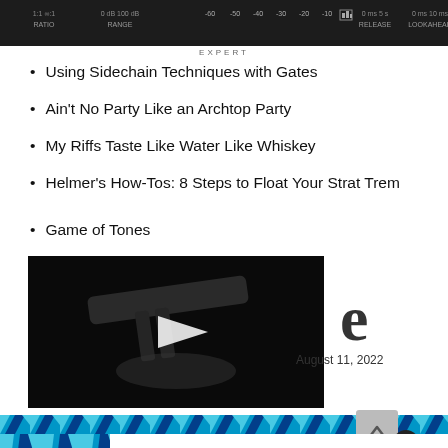[Figure (screenshot): Audio plugin interface showing RATIO, RANGE, meter display from -60 to -10 dB, RELEASE, and LOOKAHEAD controls on dark background, with EXPERT label below]
Using Sidechain Techniques with Gates
Ain't No Party Like an Archtop Party
My Riffs Taste Like Water Like Whiskey
Helmer's How-Tos: 8 Steps to Float Your Strat Trem
Game of Tones
[Figure (screenshot): Video thumbnail showing a dark guitar hardware image with a play button overlay]
August 11, 2022
[Figure (infographic): Giveaway advertisement banner with teal diagonal stripe background, a guitar tuner image on left, and a dark red button reading ENTER OUR GIVEAWAY!]